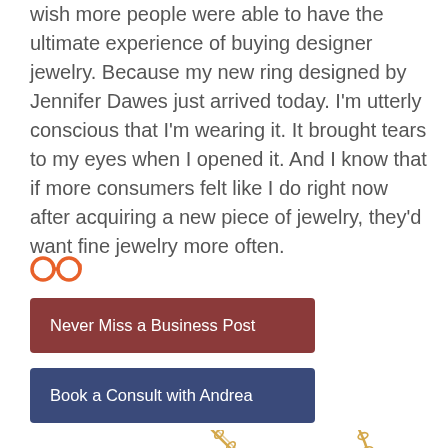wish more people were able to have the ultimate experience of buying designer jewelry. Because my new ring designed by Jennifer Dawes just arrived today. I'm utterly conscious that I'm wearing it. It brought tears to my eyes when I opened it. And I know that if more consumers felt like I do right now after acquiring a new piece of jewelry, they'd want fine jewelry more often.
[Figure (illustration): Orange glasses/spectacles emoji icon]
Never Miss a Business Post
Book a Consult with Andrea
[Figure (photo): Two gold chain necklaces with pendants, partially visible at the bottom of the page]